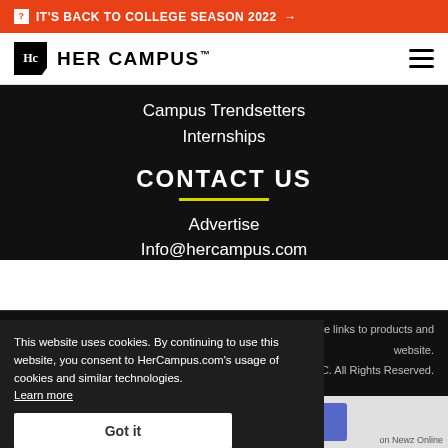IT'S BACK TO COLLEGE SEASON 2022 →
[Figure (logo): Her Campus logo with Hc icon and text HER CAMPUS]
Campus Trendsetters
Internships
CONTACT US
Advertise
Info@hercampus.com
This website uses cookies. By continuing to use this website, you consent to HerCampus.com's usage of cookies and similar technologies. Learn more
Got it
on for some links to products and website. dia, LLC. All Rights Reserved.
READ MORE
on Newz Online